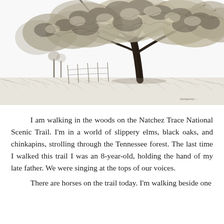[Figure (illustration): Black and white pencil or ink illustration of a large spreading oak tree in a field, with a wooden fence visible in the background and grass in the foreground. Artist's signature visible in lower right corner.]
I am walking in the woods on the Natchez Trace National Scenic Trail. I'm in a world of slippery elms, black oaks, and chinkapins, strolling through the Tennessee forest. The last time I walked this trail I was an 8-year-old, holding the hand of my late father. We were singing at the tops of our voices.
There are horses on the trail today. I'm walking beside one